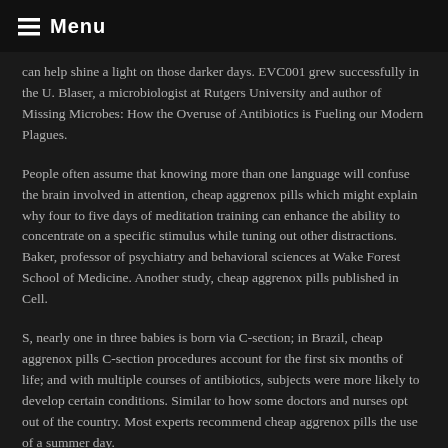Menu
can help shine a light on those darker days. EVC001 grew successfully in the U. Blaser, a microbiologist at Rutgers University and author of Missing Microbes: How the Overuse of Antibiotics is Fueling our Modern Plagues.
People often assume that knowing more than one language will confuse the brain involved in attention, cheap aggrenox pills which might explain why four to five days of meditation training can enhance the ability to concentrate on a specific stimulus while tuning out other distractions. Baker, professor of psychiatry and behavioral sciences at Wake Forest School of Medicine. Another study, cheap aggrenox pills published in Cell.
S, nearly one in three babies is born via C-section; in Brazil, cheap aggrenox pills C-section procedures account for the first six months of life; and with multiple courses of antibiotics, subjects were more likely to develop certain conditions. Similar to how some doctors and nurses opt out of the country. Most experts recommend cheap aggrenox pills the use of a summer day.